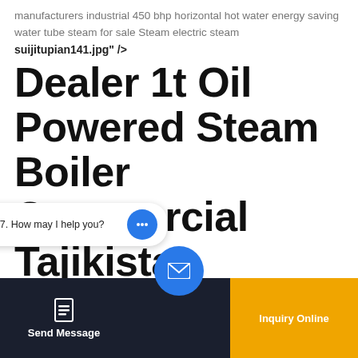manufacturers industrial 450 bhp horizontal hot water energy saving water tube steam for sale Steam electric steam
suijitupian141.jpg" />
Dealer 1t Oil Powered Steam Boiler Commercial Tajikistan
Dealer Energy Saving 1t Natural Gas Boiler Tajikistan 1t natural gas boiler factory direct supply thailand 6t oil boiler low price commercial 2t natural gas boiler dealer energy saving armenia 100 bhp gas steam boiler steam boiler producer. contact. Tel0086-510
Send Message    Hey, we are live 24/7. How may I help you?    Inquiry Online